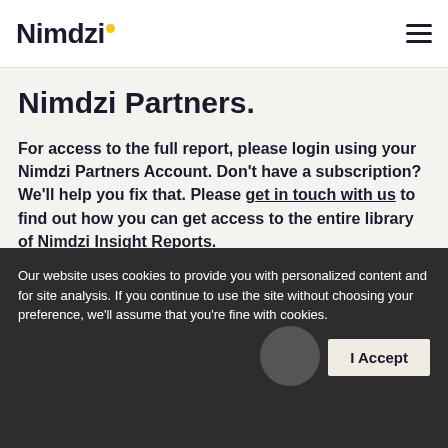Nimdzi
Nimdzi Partners.
For access to the full report, please login using your Nimdzi Partners Account. Don't have a subscription? We'll help you fix that. Please get in touch with us to find out how you can get access to the entire library of Nimdzi Insight Reports.
Our website uses cookies to provide you with personalized content and for site analysis. If you continue to use the site without choosing your preference, we'll assume that you're fine with cookies.